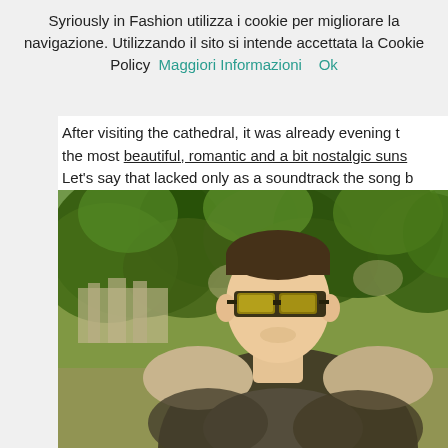Syriously in Fashion utilizza i cookie per migliorare la navigazione. Utilizzando il sito si intende accettata la Cookie Policy  Maggiori Informazioni     Ok
After visiting the cathedral, it was already evening the most beautiful, romantic and a bit nostalgic suns Let's say that lacked only as a soundtrack the song b
[Figure (photo): A young man wearing sunglasses with reflective yellow-green lenses and a dark jacket with fur-trimmed collar, standing outdoors with large green trees behind him and buildings visible in the background, taken during golden hour.]